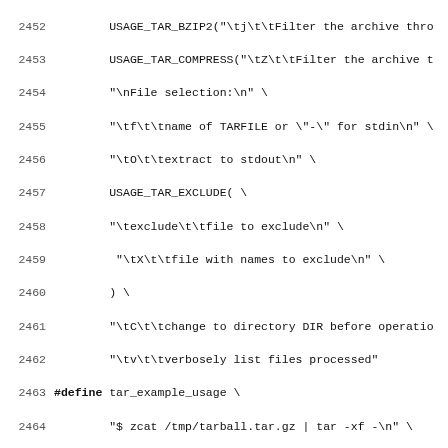Source code listing lines 2452-2483 showing C preprocessor macros for tar, tee, and telnet usage strings in a busybox-style utility header file.